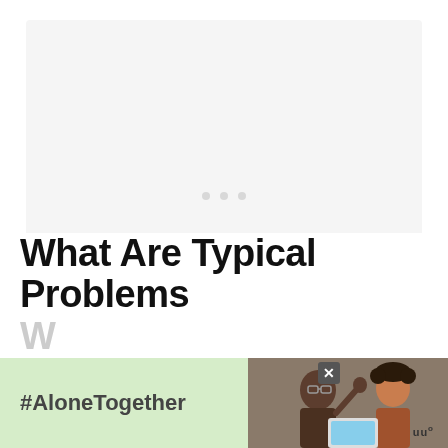[Figure (photo): Large light gray placeholder image area with three small loading dots in the center, indicating an image that has not yet loaded.]
What Are Typical Problems W...
[Figure (infographic): Advertisement overlay banner with green background showing '#AloneTogether' text, a photo of two people waving at a laptop screen, a close button (X), and a logo in the bottom right.]